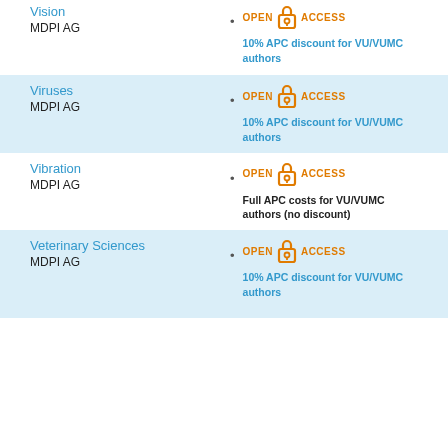Vision
MDPI AG
10% APC discount for VU/VUMC authors
Viruses
MDPI AG
10% APC discount for VU/VUMC authors
Vibration
MDPI AG
Full APC costs for VU/VUMC authors (no discount)
Veterinary Sciences
MDPI AG
10% APC discount for VU/VUMC authors